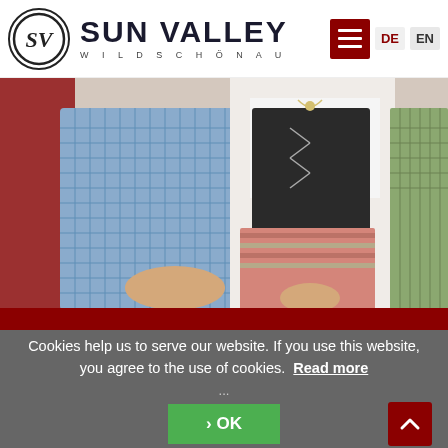[Figure (logo): Sun Valley Wildschönau logo with SV circle and text]
[Figure (photo): Photo of people wearing traditional Austrian Dirndl and Tracht clothing, Mühlegger family]
The Mühlegger family looks forward to seeing you!
Cookies help us to serve our website. If you use this website, you agree to the use of cookies. Read more
› OK